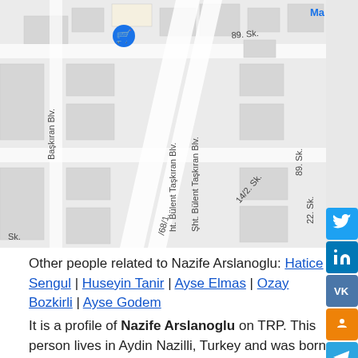[Figure (map): Street map showing area near Nazife Arslanoglu's location in Aydin Nazilli, Turkey. Shows streets including 89. Sk., 14/2. Sk., Şht. Bülent Taşkıran Blv. with a location pin marker.]
Other people related to Nazife Arslanoglu: Hatice Sengul | Huseyin Tanir | Ayse Elmas | Ozay Bozkirli | Ayse Godem
It is a profile of Nazife Arslanoglu on TRP. This person lives in Aydin Nazilli, Turkey and was born show in Tavas. We are able to know an origin of surname Nazife Arslanoglu, it is a very popular surname among people of Aydin Nazilli and take itself beginning a lot years ago. We can see a location of Nazife Arslanoglu on the map. For more information, visit